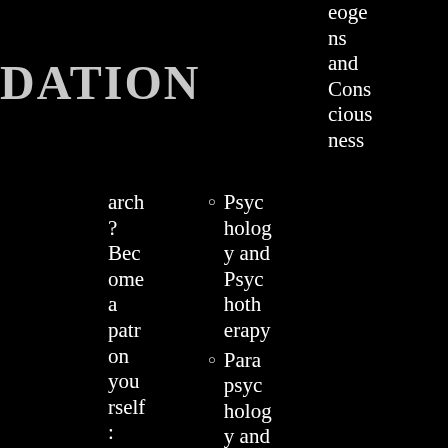DATION
eoge ns and Consciousness
arch? Become a patron yourself: https://ww
Psychology and Psychotherapy
Parapsychology and Psychical Research